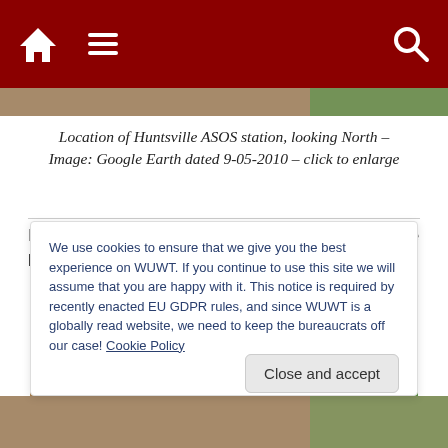[Figure (screenshot): Website navigation bar with dark red background showing home icon, hamburger menu icon, and search icon in white]
[Figure (photo): Partial aerial/birdseye map image strip at top]
Location of Huntsville ASOS station, looking North – Image: Google Earth dated 9-05-2010 – click to enlarge
I pulled up the birdseye view in Bing Maps using the lat/lon also:
[Figure (photo): Aerial birdseye view image from Bing Maps showing brown terrain with green area on right side, labeled ASOS in white text]
We use cookies to ensure that we give you the best experience on WUWT. If you continue to use this site we will assume that you are happy with it. This notice is required by recently enacted EU GDPR rules, and since WUWT is a globally read website, we need to keep the bureaucrats off our case! Cookie Policy
Close and accept